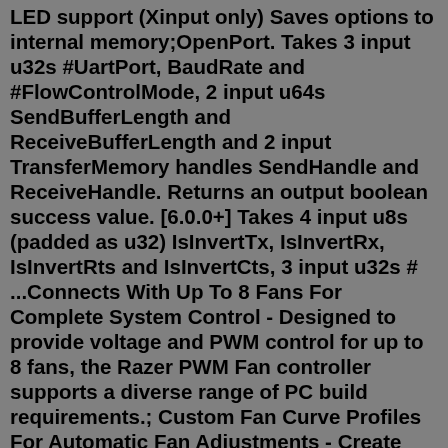LED support (Xinput only) Saves options to internal memory;OpenPort. Takes 3 input u32s #UartPort, BaudRate and #FlowControlMode, 2 input u64s SendBufferLength and ReceiveBufferLength and 2 input TransferMemory handles SendHandle and ReceiveHandle. Returns an output boolean success value. [6.0.0+] Takes 4 input u8s (padded as u32) IsInvertTx, IsInvertRx, IsInvertRts and IsInvertCts, 3 input u32s # ...Connects With Up To 8 Fans For Complete System Control - Designed to provide voltage and PWM control for up to 8 fans, the Razer PWM Fan controller supports a diverse range of PC build requirements.; Custom Fan Curve Profiles For Automatic Fan Adjustments - Create custom fan curve profiles via Razer Synapse and have your case fans automatically adjust their speeds based on system temperature ...Answer (1 of 7): What people are concerning about the OLED screen is the burn-ins, which is a very common problem for this type of screen, especially since the PS Vita almost 10 years ago (you could try search about this matter on the